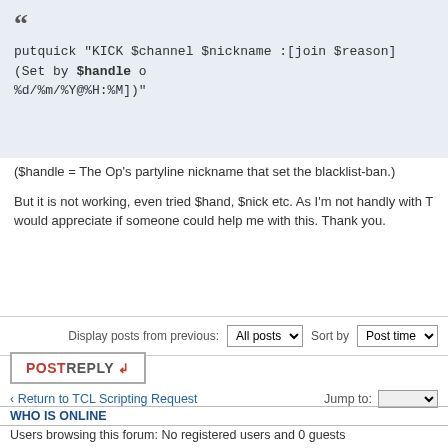putquick "KICK $channel $nickname :[join $reason] (Set by $handle on %d/%m/%Y@%H:%M])"
($handle = The Op's partyline nickname that set the blacklist-ban.)
But it is not working, even tried $hand, $nick etc. As I'm not handly with T would appreciate if someone could help me with this. Thank you.
Display posts from previous: All posts  Sort by Post time
POSTREPLY
Return to TCL Scripting Request
Jump to:
WHO IS ONLINE
Users browsing this forum: No registered users and 0 guests
Board index  The team •
Powered by phpBB © 2000, 2002, 2005, 2007 phpBB sp00fed nopaste modders